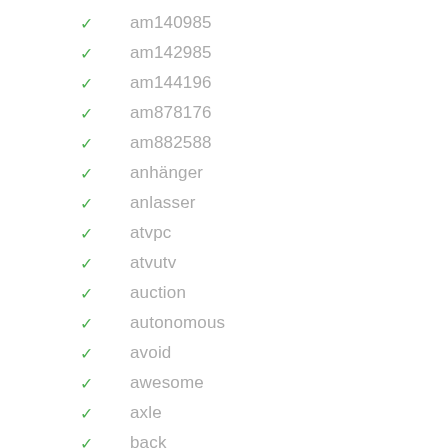am140985
am142985
am144196
am878176
am882588
anhänger
anlasser
atvpc
atvutv
auction
autonomous
avoid
awesome
axle
back
balls
baltic
bare